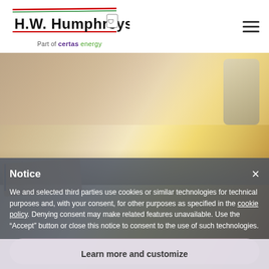[Figure (logo): H.W. Humphreys & Son logo with red and green stripes, shield icon. Part of certas energy tagline below.]
Notice
We and selected third parties use cookies or similar technologies for technical purposes and, with your consent, for other purposes as specified in the cookie policy. Denying consent may make related features unavailable. Use the “Accept” button or close this notice to consent to the use of such technologies.
Accept
Learn more and customize